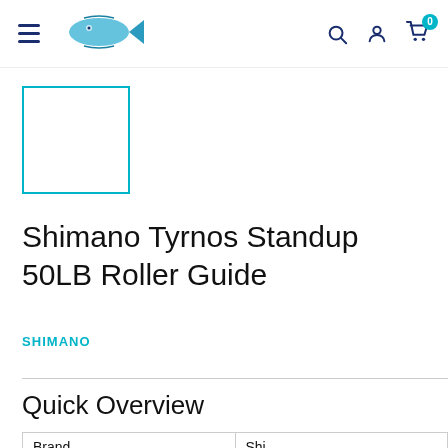Navigation bar with hamburger menu, fish logo, search icon, account icon, and cart (0)
[Figure (other): Product thumbnail placeholder box with teal/cyan border]
Shimano Tyrnos Standup 50LB Roller Guide
SHIMANO
Quick Overview
| Brand | Shipping |
| --- | --- |